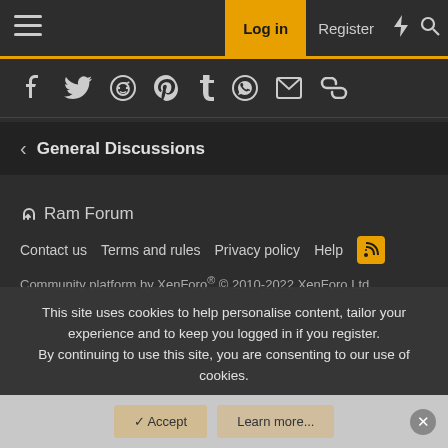Log in | Register
[Figure (screenshot): Social sharing icons row: Facebook, Twitter, Reddit, Pinterest, Tumblr, WhatsApp, Email, Link]
< General Discussions
Ram Forum
Contact us   Terms and rules   Privacy policy   Help  [RSS icon]
Community platform by XenForo® © 2010-2022 XenForo Ltd.
This site uses cookies to help personalise content, tailor your experience and to keep you logged in if you register.
By continuing to use this site, you are consenting to our use of cookies.
Accept   Learn more...